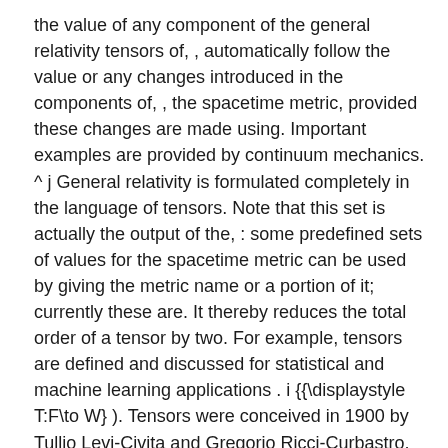the value of any component of the general relativity tensors of, , automatically follow the value or any changes introduced in the components of, , the spacetime metric, provided these changes are made using. Important examples are provided by continuum mechanics. ^ j General relativity is formulated completely in the language of tensors. Note that this set is actually the output of the, : some predefined sets of values for the spacetime metric can be used by giving the metric name or a portion of it; currently these are. It thereby reduces the total order of a tensor by two. For example, tensors are defined and discussed for statistical and machine learning applications . i {\displaystyle T:F\to W} ). Tensors were conceived in 1900 by Tullio Levi-Civita and Gregorio Ricci-Curbastro, who continued the earlier work of Bernhard Riemann and Elwin Bruno Christoffel and others, as part of the absolute differential calculus. What are Tensors? The components of a more general tensor transform by some combination of covariant and contravariant transformations, with